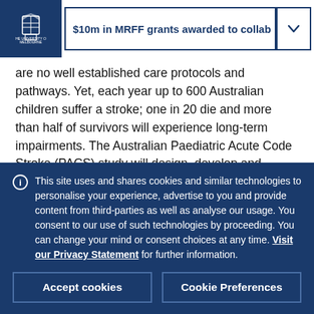$10m in MRFF grants awarded to collab
are no well established care protocols and pathways. Yet, each year up to 600 Australian children suffer a stroke; one in 20 die and more than half of survivors will experience long-term impairments. The Australian Paediatric Acute Code Stroke (PACS) study will design, develop and evaluate a national protocol to increase stroke diagnosis within 4.5 hours for infants, children and teens. The study will use
This site uses and shares cookies and similar technologies to personalise your experience, advertise to you and provide content from third-parties as well as analyse our usage. You consent to our use of such technologies by proceeding. You can change your mind or consent choices at any time. Visit our Privacy Statement for further information.
Accept cookies
Cookie Preferences